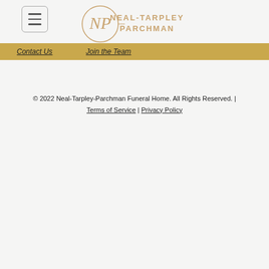[Figure (logo): Neal-Tarpley Parchman funeral home logo with circular NP monogram and text]
Contact Us | Join the Team
© 2022 Neal-Tarpley-Parchman Funeral Home. All Rights Reserved. | Terms of Service | Privacy Policy